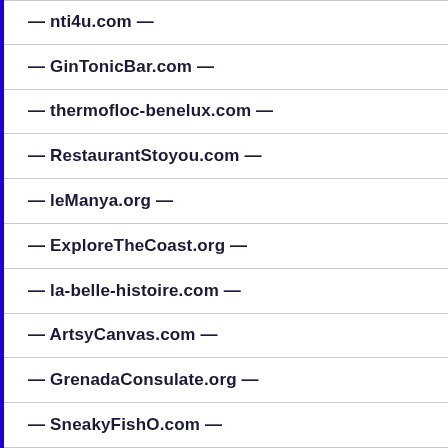— nti4u.com —
— GinTonicBar.com —
— thermofloc-benelux.com —
— RestaurantStoyou.com —
— leManya.org —
— ExploreTheCoast.org —
— la-belle-histoire.com —
— ArtsyCanvas.com —
— GrenadaConsulate.org —
— SneakyFishO.com —